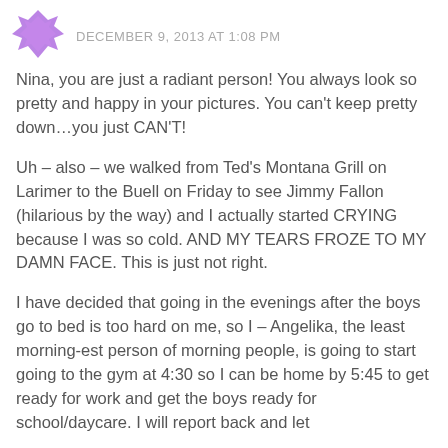DECEMBER 9, 2013 AT 1:08 PM
Nina, you are just a radiant person! You always look so pretty and happy in your pictures. You can't keep pretty down…you just CAN'T!
Uh – also – we walked from Ted's Montana Grill on Larimer to the Buell on Friday to see Jimmy Fallon (hilarious by the way) and I actually started CRYING because I was so cold. AND MY TEARS FROZE TO MY DAMN FACE. This is just not right.
I have decided that going in the evenings after the boys go to bed is too hard on me, so I – Angelika, the least morning-est person of morning people, is going to start going to the gym at 4:30 so I can be home by 5:45 to get ready for work and get the boys ready for school/daycare. I will report back and let